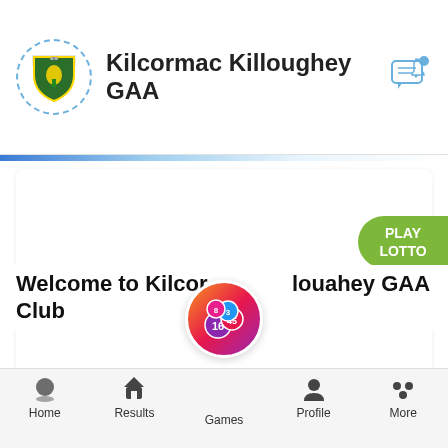Kilcormac Killoughey GAA
[Figure (logo): Kilcormac Killoughey GAA club crest logo in a dashed circle]
[Figure (infographic): Green PLAY LOTTO button on right side]
Welcome to Kilcormac Killoughey GAA Club
[Figure (infographic): Games navigation bubble with lotto balls showing numbers 16, 45, and other numbers]
Home | Results | Games | Profile | More